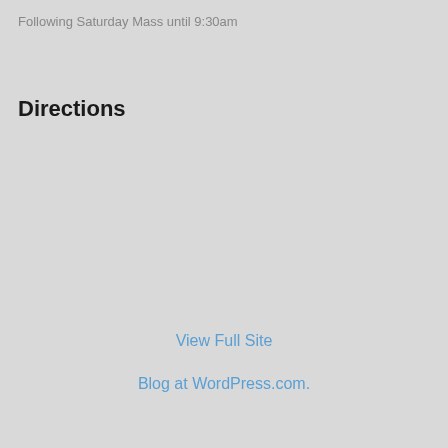Following Saturday Mass until 9:30am
Directions
View Full Site
Blog at WordPress.com.